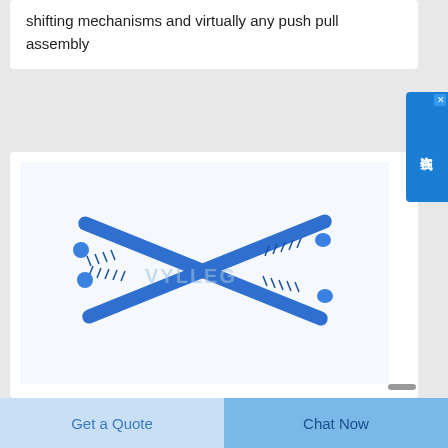shifting mechanisms and virtually any push pull assembly
[Figure (photo): Two blue threaded push-pull rod assemblies crossed over each other in an X pattern, with threaded ends and connector fittings, shown against a white background. Watermark text 'VYLLEG' visible.]
Get a Quote
Chat Now